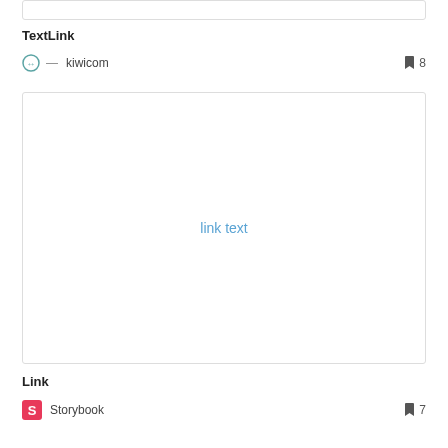[Figure (screenshot): Empty white box with border at top of page]
TextLink
kiwicom — bookmark 8
[Figure (screenshot): Preview box with centered blue link text reading 'link text']
Link
Storybook — bookmark 7